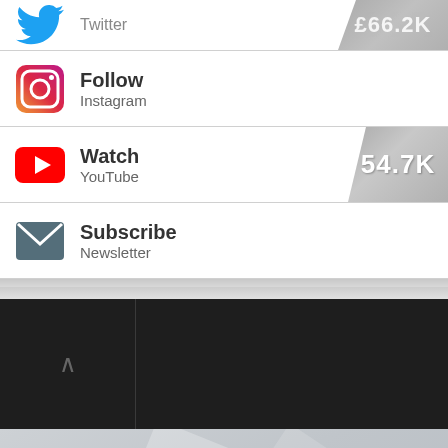Twitter
Follow
Instagram
Watch
YouTube — 54.7K
Subscribe
Newsletter
[Figure (screenshot): Dark navigation panel with chevron up arrow and vertical divider]
Copyright
Terms & Conditions
Privacy
Disclaimer